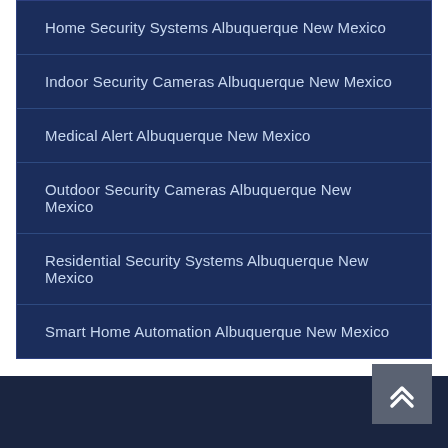Home Security Systems Albuquerque New Mexico
Indoor Security Cameras Albuquerque New Mexico
Medical Alert Albuquerque New Mexico
Outdoor Security Cameras Albuquerque New Mexico
Residential Security Systems Albuquerque New Mexico
Smart Home Automation Albuquerque New Mexico